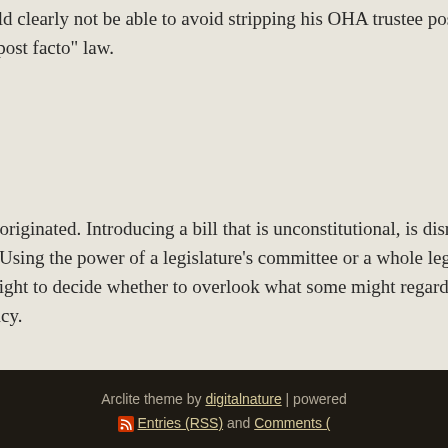So even if this bill might somehow avoid being a bill of attainder, it would clearly not be able to avoid stripping his OHA trustee position where he won it, thus making this bill after the victim has already acted an "ex post facto" law.
My dear committee members: Does it really matter where the disrespect originated. Introducing a bill that is unconstitutional, is disrespectful to the constitution and the oath all legislators take to support and defend it. Using the power of a legislature's committee or a whole legislature to oust an elected official without involving the voters, denying voters the right to decide whether to overlook what some might regard as flaws, is disrespectful to voters and disrespectful to the whole concept of democracy.
Trash this bill. It has already tarnish
Tags: censorship, Grassroot Institute, Ha
Arclite theme by digitalnature | powered
Entries (RSS) and Comments (